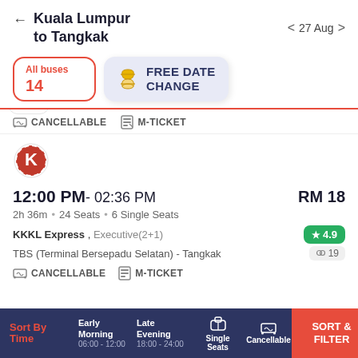Kuala Lumpur to Tangkak — 27 Aug
All buses 14
FREE DATE CHANGE
CANCELLABLE  M-TICKET
[Figure (logo): KKKL Express bus company logo — red circle with stylized K character]
12:00 PM- 02:36 PM  RM 18
2h 36m • 24 Seats • 6 Single Seats
KKKL Express , Executive(2+1)
★ 4.9
TBS (Terminal Bersepadu Selatan) - Tangkak
👥 19
CANCELLABLE  M-TICKET
Sort By Time | Early Morning 06:00 - 12:00 | Late Evening 18:00 - 24:00 | Single Seats | Cancellable | SORT & FILTER